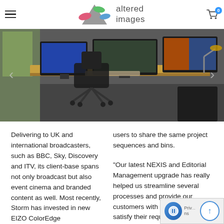altered images
[Figure (photo): Photo of a professional video editing workstation with multiple monitors on a wooden desk, ergonomic chair in foreground, dark carpet floor, colorful content displayed on screens]
Delivering to UK and international broadcasters, such as BBC, Sky, Discovery and ITV, its client-base spans not only broadcast but also event cinema and branded content as well. Most recently, Storm has invested in new EIZO ColorEdge PROMINENCE (CG3145) HDR reference monitors for accurate
users to share the same project sequences and bins.

"Our latest NEXIS and Editorial Management upgrade has really helped us streamline several processes and provide our customers with powerful to help satisfy their requirements and deliver